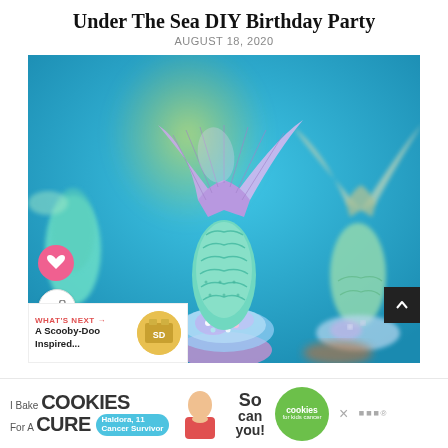Under The Sea DIY Birthday Party
AUGUST 18, 2020
[Figure (photo): Close-up photo of mermaid tail cupcakes against a bright blue background. Cupcakes decorated with teal/mint mermaid tail toppers made of fondant, with purple/lavender fin tops, and colorful frosting with candy pearls. A heart favorite button and share button are visible on the left side of the image. A black scroll-to-top button appears on the right.]
WHAT'S NEXT → A Scooby-Doo Inspired...